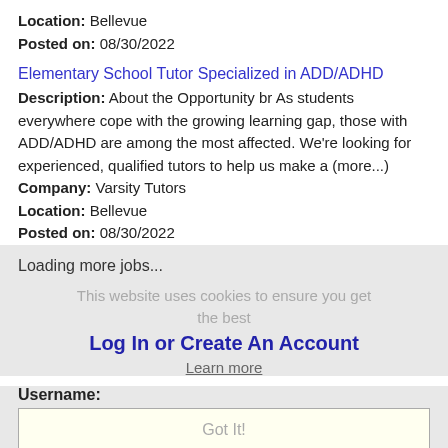Location: Bellevue
Posted on: 08/30/2022
Elementary School Tutor Specialized in ADD/ADHD
Description: About the Opportunity br As students everywhere cope with the growing learning gap, those with ADD/ADHD are among the most affected. We're looking for experienced, qualified tutors to help us make a (more...)
Company: Varsity Tutors
Location: Bellevue
Posted on: 08/30/2022
Loading more jobs...
This website uses cookies to ensure you get the best
Log In or Create An Account
Learn more
Username:
Got It!
Password: